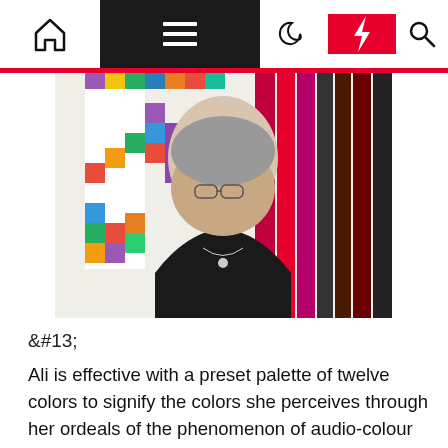Navigation bar with home, menu, moon, lightning, and search icons
[Figure (photo): Portrait photo of a middle-aged woman with glasses and grey hair, wearing a black top with a necklace, smiling in front of a colorful abstract background featuring vertical and staircase-like blocks of color including red, pink, purple, blue, green, orange, yellow, and brown.]
&#13;
Ali is effective with a preset palette of twelve colors to signify the colors she perceives through her ordeals of the phenomenon of audio-colour synaesthesia – when listening to music, she perceives each individual take note of the musical scale as a particular colour. She is inspired and enthusiastic by these ordeals, drawing on them and